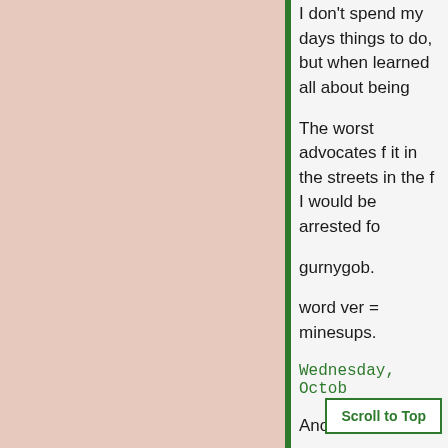I don't spend my days things to do, but when learned all about being
The worst advocates f it in the streets in the f I would be arrested fo
gurnygob.
word ver = minesups.
Wednesday, Octo
Anonymous said...
"Now don't get the ide smelli... a